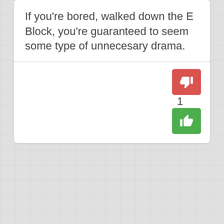If you're bored, walked down the E Block, you're guaranteed to seem some type of unnecesary drama.
[Figure (other): Vote buttons: red thumbs-down button on the left, number '1' in the middle, green thumbs-up button on the right]